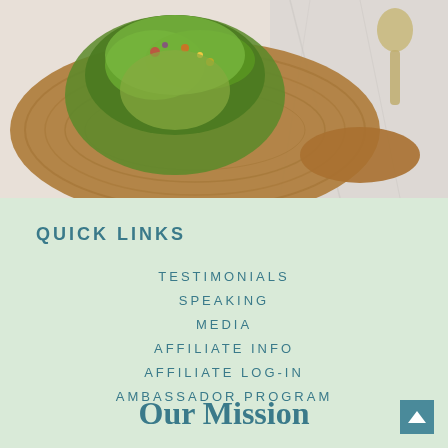[Figure (photo): Overhead photo of a salad or avocado toast on a wooden cutting board against a marble background, with a spoon visible in the upper right corner.]
QUICK LINKS
TESTIMONIALS
SPEAKING
MEDIA
AFFILIATE INFO
AFFILIATE LOG-IN
AMBASSADOR PROGRAM
Our Mission